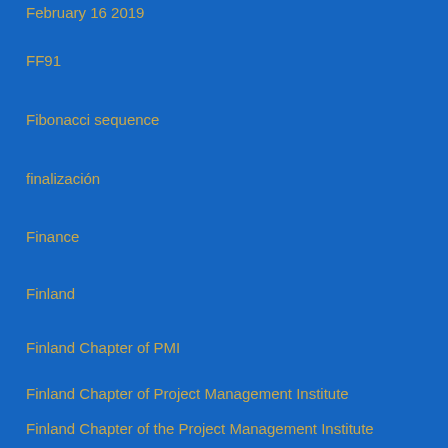February 16 2019
FF91
Fibonacci sequence
finalización
Finance
Finland
Finland Chapter of PMI
Finland Chapter of Project Management Institute
Finland Chapter of the Project Management Institute
First Place Awards